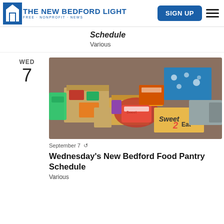The New Bedford Light — FREE · NONPROFIT · NEWS | SIGN UP
Schedule
Various
[Figure (photo): Boxes and bags of food items at a food pantry, viewed from above, showing various packaged foods and produce in cardboard boxes]
September 7 ↻
Wednesday's New Bedford Food Pantry Schedule
Various